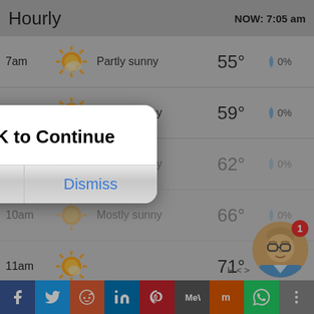Hourly  NOW: 7:05 am
| Time | Icon | Description | Temp | Precip |
| --- | --- | --- | --- | --- |
| 7am |  | Partly sunny | 55° | 0% |
| 8am |  | Mostly sunny | 59° | 0% |
| 9am |  | Mostly sunny | 62° | 0% |
| 10am |  | Mostly sunny | 66° | 0% |
| 11am |  |  | 71° | 0% |
| 12pm |  | Mostly sunny | 75° |  |
[Figure (screenshot): Modal dialog with text 'Click OK to Continue' and two buttons: OK and Dismiss]
[Figure (illustration): Avatar of a cartoon person with glasses and a notification badge showing 1]
[Figure (infographic): Social sharing bar with buttons for Facebook, Twitter, Reddit, LinkedIn, Pinterest, MeWe, Mix, WhatsApp, and More]